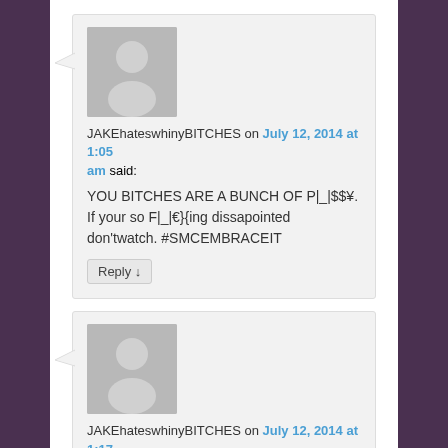JAKEhateswhinyBITCHES on July 12, 2014 at 1:05 am said: YOU BITCHES ARE A BUNCH OF P|_|$$¥. If your so F|_|€}{ing dissapointed don'twatch. #SMCEMBRACEIT
JAKEhateswhinyBITCHES on July 12, 2014 at 1:17 am said: